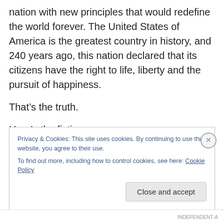nation with new principles that would redefine the world forever. The United States of America is the greatest country in history, and 240 years ago, this nation declared that its citizens have the right to life, liberty and the pursuit of happiness.
That’s the truth.
Here’s the fiction.
Independence Day: Resurgence has the difficult task of just trying to live up to the classic original. Certainly not an
Privacy & Cookies: This site uses cookies. By continuing to use this website, you agree to their use.
To find out more, including how to control cookies, see here: Cookie Policy
Close and accept